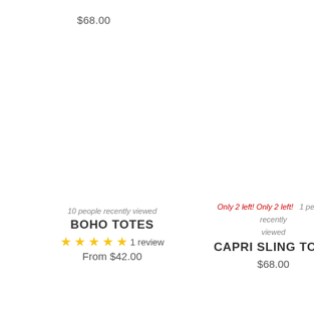$68.00
10 people recently viewed
BOHO TOTES
★★★★★ 1 review
From $42.00
Only 2 left! Only 2 left!  1 person recently viewed
CAPRI SLING TOTE
$68.00